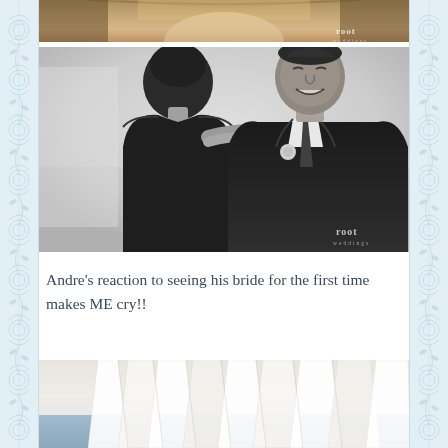[Figure (photo): Top portion of a wedding venue interior photo showing ornate arched ceiling with warm golden tones, with 'root' watermark in bottom right corner]
[Figure (photo): Black and white wedding photo showing a woman adjusting the boutonniere or tie of a man in a dark suit who is smiling, with 'root' watermark in bottom right corner]
Andre's reaction to seeing his bride for the first time makes ME cry!!
[Figure (photo): Partial view of what appears to be white fabric/veil with geometric pleating patterns against a light blue background]